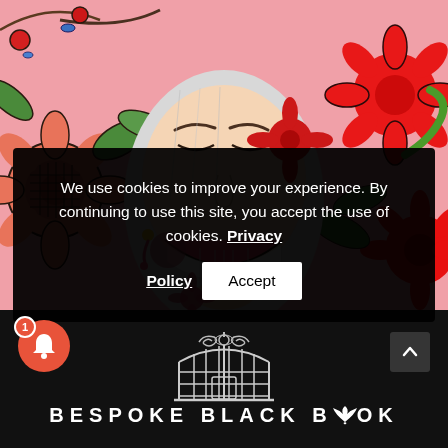[Figure (illustration): Colorful illustration of a smiling woman with white/silver hair, red flowers in her hair, against a pink floral background with birds and flowers]
We use cookies to improve your experience. By continuing to use this site, you accept the use of cookies. Privacy Policy
Accept
[Figure (logo): Bespoke Black Book logo — decorative birdcage illustration above text reading BESPOKE BLACK BOOK with a bird silhouette replacing the O in BOOK]